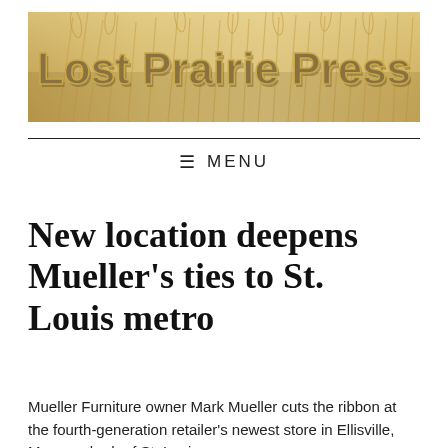[Figure (logo): Lost Prairie Press website banner with wheat field background and bold tan text reading 'Lost Prairie Press']
☰  MENU
New location deepens Mueller's ties to St. Louis metro
Mueller Furniture owner Mark Mueller cuts the ribbon at the fourth-generation retailer's newest store in Ellisville, Mo., a suburb of St. Louis.